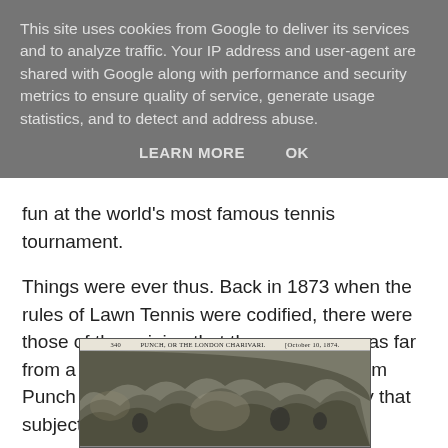This site uses cookies from Google to deliver its services and to analyze traffic. Your IP address and user-agent are shared with Google along with performance and security metrics to ensure quality of service, generate usage statistics, and to detect and address abuse.
LEARN MORE    OK
fun at the world's most famous tennis tournament.
Things were ever thus. Back in 1873 when the rules of Lawn Tennis were codified, there were those of the opinion that the new game was far from a masculine pursuit. This cartoon from Punch in 1874 concerns itself with exactly that subject…
[Figure (illustration): Old engraving from Punch, or the London Charivari, dated October 10, 1874, showing a scene related to lawn tennis.]